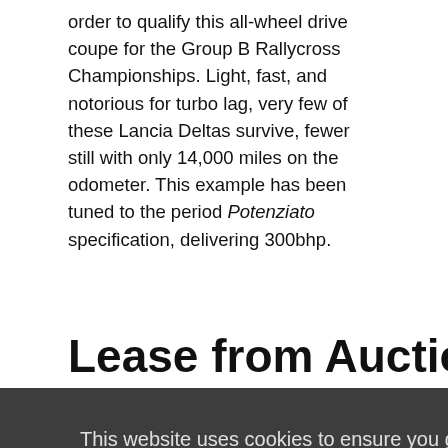order to qualify this all-wheel drive coupe for the Group B Rallycross Championships. Light, fast, and notorious for turbo lag, very few of these Lancia Deltas survive, fewer still with only 14,000 miles on the odometer. This example has been tuned to the period Potenziato specification, delivering 300bhp.
Lease from Auction with
This website uses cookies to ensure you get the best online experience. By clicking “x” or “Learn More”, you consent to our use of cookies and agree with the terms listed on this site. Learn more